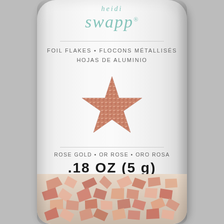[Figure (photo): Product photo of Heidi Swapp Foil Flakes bottle in Rose Gold. White cylindrical bottle with teal/mint logo at top reading 'heidi swapp.', product text 'FOIL FLAKES • FLOCONS MÉTALLISÉS HOJAS DE ALUMINIO', a rose gold metallic star graphic in center, text 'ROSE GOLD • OR ROSE • ORO ROSA' and '.18 OZ (5 g)' weight, bottom of bottle showing rose gold foil flakes.]